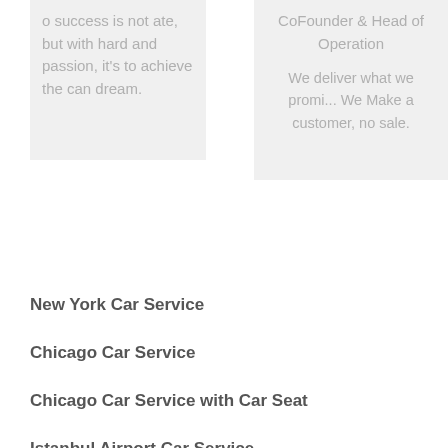o success is not ate, but with hard and passion, it's to achieve the can dream.
CoFounder & Head of Operation

We deliver what we promi... We Make a customer, no sale.
New York Car Service
Chicago Car Service
Chicago Car Service with Car Seat
Istanbul Airport Car Service